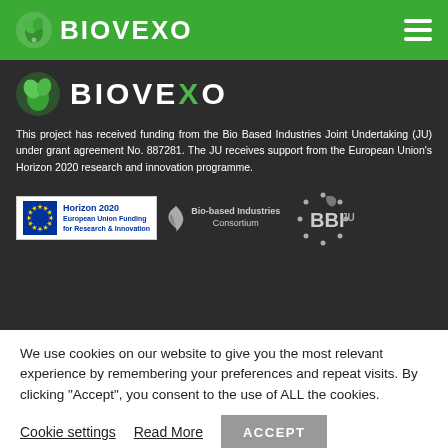BIOVEXO
[Figure (logo): BIOVEXO logo with green leaf icon on dark background banner]
This project has received funding from the Bio Based Industries Joint Undertaking (JU) under grant agreement No. 887281. The JU receives support from the European Union's Horizon 2020 research and innovation programme.
[Figure (logo): Horizon 2020 European Union Funding for Research & Innovation logo, Bio-based Industries Consortium logo, BBI JU logo]
We use cookies on our website to give you the most relevant experience by remembering your preferences and repeat visits. By clicking "Accept", you consent to the use of ALL the cookies.
Cookie settings   Read More   ACCEPT